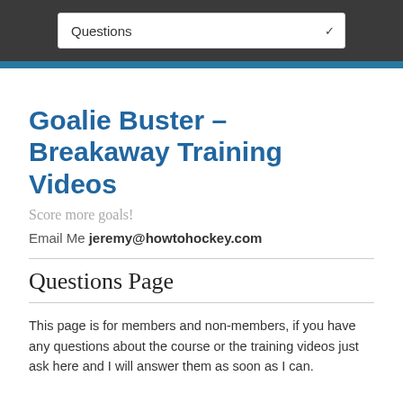Questions
Goalie Buster – Breakaway Training Videos
Score more goals!
Email Me jeremy@howtohockey.com
Questions Page
This page is for members and non-members, if you have any questions about the course or the training videos just ask here and I will answer them as soon as I can.